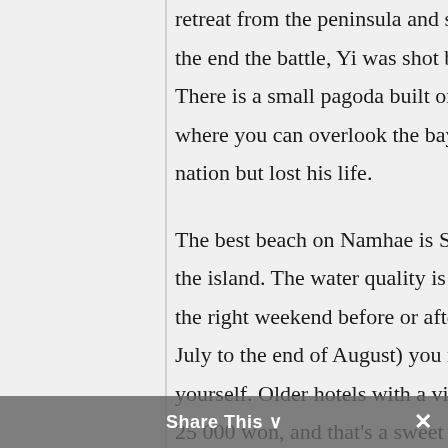retreat from the peninsula and sue for peace. Sadly, towards the end the battle, Yi was shot by a Japanese marksman. There is a small pagoda built on the western tip of the island where you can overlook the bay where the admiral saved the nation but lost his life.

The best beach on Namhae is Sangju, on the southern end of the island. The water quality is superb, and if you get there on the right weekend before or after swimming season (end of July to the end of August) you might get the beach entirely to yourself. Older hotels with a view of the beach will cost you 25 000 won, and that's a sweet deal for one of the most beau...
Share This ∨  ✕